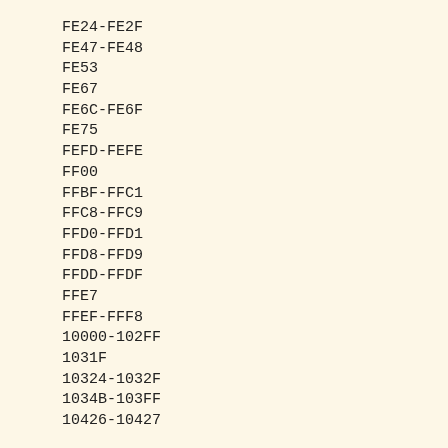FE24-FE2F
FE47-FE48
FE53
FE67
FE6C-FE6F
FE75
FEFD-FEFE
FF00
FFBF-FFC1
FFC8-FFC9
FFD0-FFD1
FFD8-FFD9
FFDD-FFDF
FFE7
FFEF-FFF8
10000-102FF
1031F
10324-1032F
1034B-103FF
10426-10427